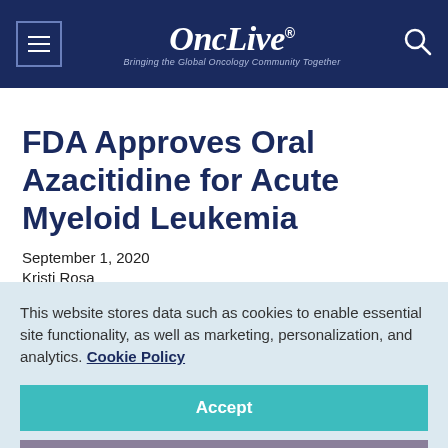OncLive® — Bringing the Global Oncology Community Together
FDA Approves Oral Azacitidine for Acute Myeloid Leukemia
September 1, 2020
Kristi Rosa
[Figure (other): Social media sharing icons: Facebook, Twitter, LinkedIn, Pinterest, Email]
This website stores data such as cookies to enable essential site functionality, as well as marketing, personalization, and analytics. Cookie Policy
Accept
Deny